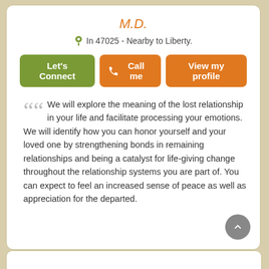M.D.
In 47025 - Nearby to Liberty.
Let's Connect | Call me | View my profile
We will explore the meaning of the lost relationship in your life and facilitate processing your emotions. We will identify how you can honor yourself and your loved one by strengthening bonds in remaining relationships and being a catalyst for life-giving change throughout the relationship systems you are part of. You can expect to feel an increased sense of peace as well as appreciation for the departed.